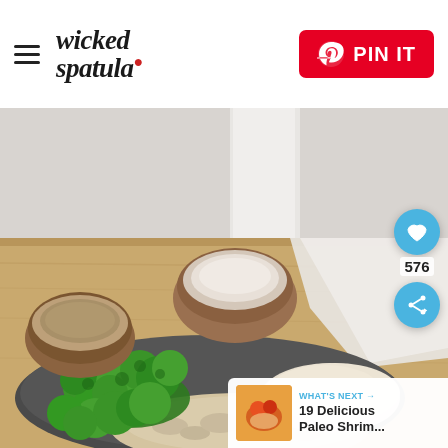wicked spatula — PIN IT
[Figure (photo): Food photo showing a plate with broccoli florets, mashed cauliflower or rice, and a mushroom cream sauce, with two wooden bowls of salt and pepper in the background on a wooden board, with a white linen napkin. Overlaid with a heart/save button (576 saves) and a share button on the right side.]
WHAT'S NEXT → 19 Delicious Paleo Shrim...